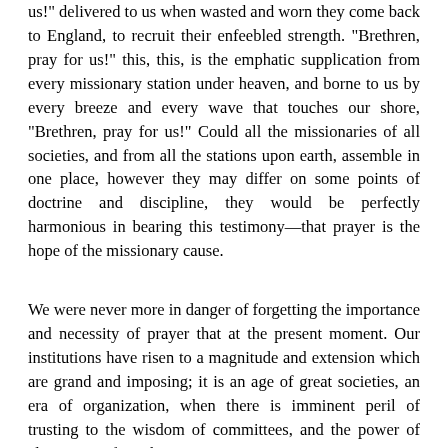us!" delivered to us when wasted and worn they come back to England, to recruit their enfeebled strength. "Brethren, pray for us!" this, this, is the emphatic supplication from every missionary station under heaven, and borne to us by every breeze and every wave that touches our shore, "Brethren, pray for us!" Could all the missionaries of all societies, and from all the stations upon earth, assemble in one place, however they may differ on some points of doctrine and discipline, they would be perfectly harmonious in bearing this testimony—that prayer is the hope of the missionary cause.
We were never more in danger of forgetting the importance and necessity of prayer that at the present moment. Our institutions have risen to a magnitude and extension which are grand and imposing; it is an age of great societies, an era of organization, when there is imminent peril of trusting to the wisdom of committees, and the power of eloquence, of numbers,